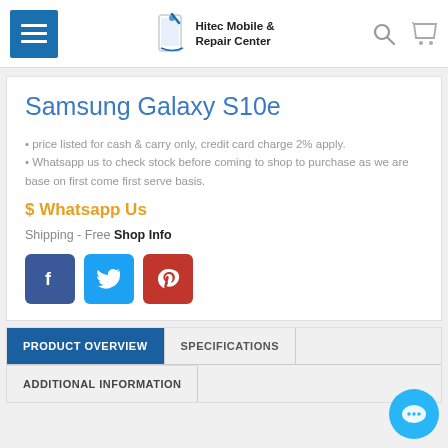Hitec Mobile & Repair Center
Samsung Galaxy S10e
• price listed for cash & carry only, credit card charge 2% apply.
• Whatsapp us to check stock before coming to shop to purchase as we are base on first come first serve basis.
$ Whatsapp Us
Shipping - Free Shop Info
PRODUCT OVERVIEW  SPECIFICATIONS  ADDITIONAL INFORMATION